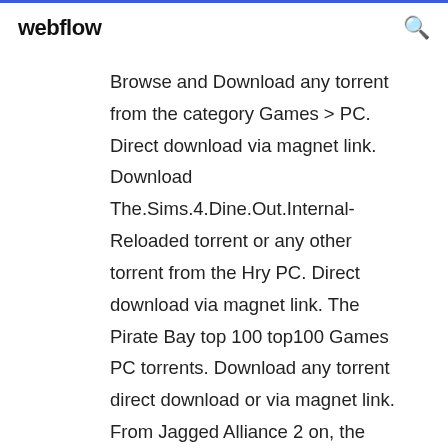webflow
Browse and Download any torrent from the category Games > PC. Direct download via magnet link. Download The.Sims.4.Dine.Out.Internal-Reloaded torrent or any other torrent from the Hry PC. Direct download via magnet link. The Pirate Bay top 100 top100 Games PC torrents. Download any torrent direct download or via magnet link. From Jagged Alliance 2 on, the games were developed using DirectX for native Windows operation. Jagged Alliance 2 was also released for Linux and is available on Steam and on GOG.com for Windows. Jagged Alliance Rage-Codex - Cracked By Skidrow, Codex, Reloaded, CPY download Torrent, ISO, Tinviso, Plaza